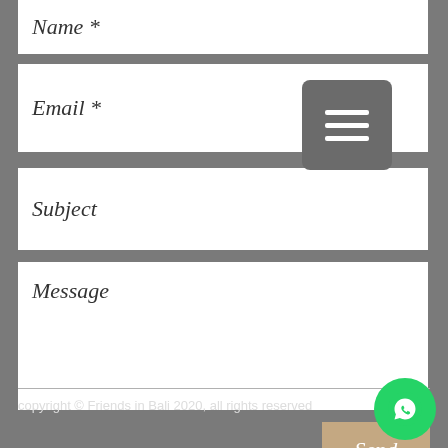Name *
Email *
[Figure (other): Hamburger menu button icon with three horizontal white lines on a dark grey rounded square background]
Subject
Message
Send
copyright © Friends in Bali 2020, all rights reserved
[Figure (other): Green circular WhatsApp button with white phone/chat icon]